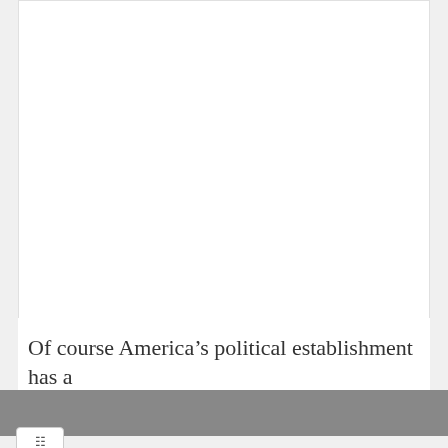Of course America’s political establishment has a